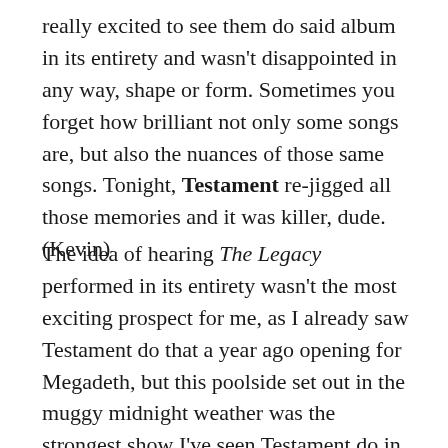really excited to see them do said album in its entirety and wasn't disappointed in any way, shape or form. Sometimes you forget how brilliant not only some songs are, but also the nuances of those same songs. Tonight, Testament re-jigged all those memories and it was killer, dude. (Kevin)
The idea of hearing The Legacy performed in its entirety wasn't the most exciting prospect for me, as I already saw Testament do that a year ago opening for Megadeth, but this poolside set out in the muggy midnight weather was the strongest show I've seen Testament do in the last few years, inciting the most vicious mosh pit of the entire trip. One poor fella was hurled to the side with such force he whacked his head on the side of the adjacent pool deck, which was a bit scary to witness, and which quickly